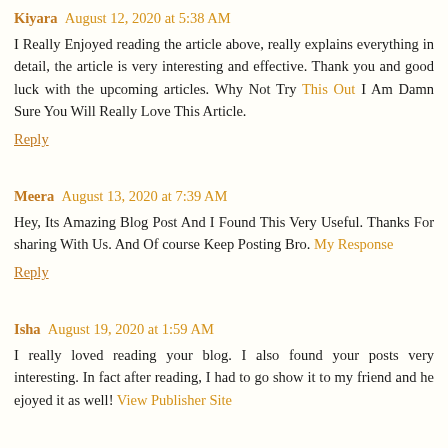Kiyara August 12, 2020 at 5:38 AM
I Really Enjoyed reading the article above, really explains everything in detail, the article is very interesting and effective. Thank you and good luck with the upcoming articles. Why Not Try This Out I Am Damn Sure You Will Really Love This Article.
Reply
Meera August 13, 2020 at 7:39 AM
Hey, Its Amazing Blog Post And I Found This Very Useful. Thanks For sharing With Us. And Of course Keep Posting Bro. My Response
Reply
Isha August 19, 2020 at 1:59 AM
I really loved reading your blog. I also found your posts very interesting. In fact after reading, I had to go show it to my friend and he ejoyed it as well! View Publisher Site